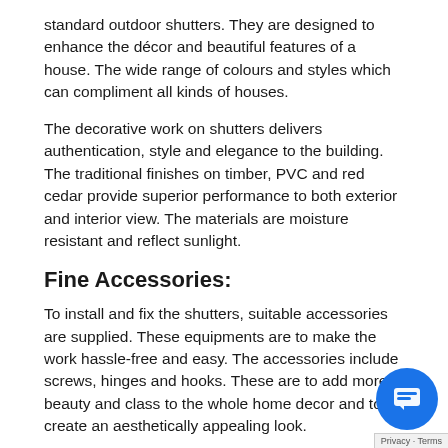standard outdoor shutters. They are designed to enhance the décor and beautiful features of a house. The wide range of colours and styles which can compliment all kinds of houses.
The decorative work on shutters delivers authentication, style and elegance to the building. The traditional finishes on timber, PVC and red cedar provide superior performance to both exterior and interior view. The materials are moisture resistant and reflect sunlight.
Fine Accessories:
To install and fix the shutters, suitable accessories are supplied. These equipments are to make the work hassle-free and easy. The accessories include screws, hinges and hooks. These are to add more beauty and class to the whole home decor and to create an aesthetically appealing look.